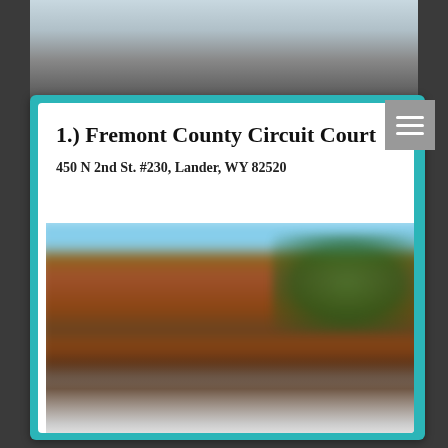1.) Fremont County Circuit Court
450 N 2nd St. #230, Lander, WY 82520
[Figure (photo): Exterior photo of Fremont County Circuit Court building, a red brick structure with blue sky and trees visible, image is blurred]